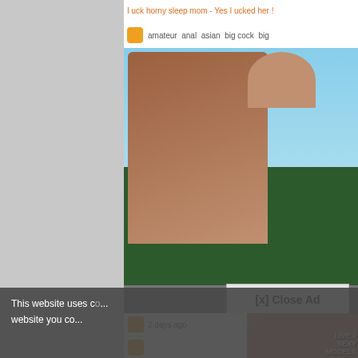I uck horny sleep mom - Yes I ucked her !
amateur  anal  asian  big cock  big
[Figure (photo): Screenshot of an adult content website showing a woman photographing outdoors with a camera, background of blue sky and green trees, with an overlaid popup advertisement featuring adult content, 'LIVE // SEXY MODELS' text, and a 'FREE 120 CREDITS' button]
[x] Close Ad
2 days ago
This website uses c... website you co...
FREE 120 CREDITS
LIVE // SEXY MODELS